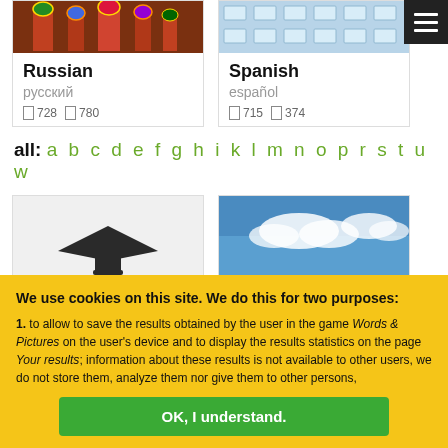[Figure (photo): Saint Basil's Cathedral in Moscow, colorful domes]
Russian
русский
[] 728  [] 780
[Figure (photo): Blue building facade with windows]
Spanish
español
[] 715  [] 374
all: a b c d e f g h i k l m n o p r s t u w
[Figure (illustration): Black graduation cap or hat shape]
[Figure (photo): Blue sky with clouds]
We use cookies on this site. We do this for two purposes:
1. to allow to save the results obtained by the user in the game Words & Pictures on the user's device and to display the results statistics on the page Your results; information about these results is not available to other users, we do not store them, analyze them nor give them to other persons,
OK, I understand.